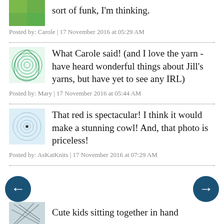sort of funk, I'm thinking.
Posted by: Carole | 17 November 2016 at 05:29 AM
What Carole said! (and I love the yarn - have heard wonderful things about Jill's yarns, but have yet to see any IRL)
Posted by: Mary | 17 November 2016 at 05:44 AM
That red is spectacular! I think it would make a stunning cowl! And, that photo is priceless!
Posted by: AsKatKnits | 17 November 2016 at 07:29 AM
Cute kids sitting together in hand